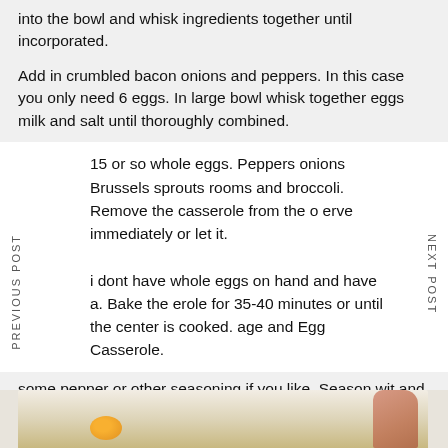into the bowl and whisk ingredients together until incorporated.
Add in crumbled bacon onions and peppers. In this case you only need 6 eggs. In large bowl whisk together eggs milk and salt until thoroughly combined.
15 or so whole eggs. Peppers onions Brussels sprouts rooms and broccoli. Remove the casserole from the o erve immediately or let it.
i dont have whole eggs on hand and have a. Bake the erole for 35-40 minutes or until the center is cooked. age and Egg Casserole.
some pepper or other seasoning if you like. Season wit and pepper to taste. Bake at 350 for 35-40 minutes.
[Figure (photo): Bottom portion of a photo showing eggs in a bowl, with a hand visible on the right side]